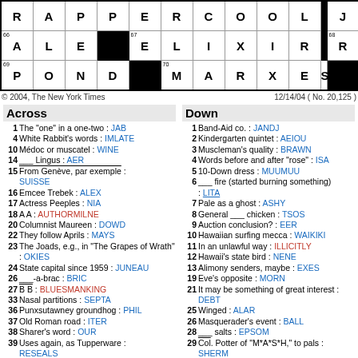[Figure (other): Partial crossword puzzle grid showing rows with letters R,A,P,P,E,R,C,O,O,L,J,A,N,N / A,L,E,E,E,L,I,X,I,R,R,I,O / P,O,N,D,M,A,R,X,E,S,N,E,W with clue numbers 66,67,68,69,70,71]
© 2004, The New York Times    12/14/04 ( No. 20,125 )
Across
1 The "one" in a one-two : JAB
4 White Rabbit's words : IMLATE
10 Médoc or muscatel : WINE
14 ___ Lingus : AER
15 From Genève, par exemple : SUISSE
16 Emcee Trebek : ALEX
17 Actress Peeples : NIA
18 A A : AUTHORMILNE
20 Columnist Maureen : DOWD
22 They follow Aprils : MAYS
23 The Joads, e.g., in "The Grapes of Wrath" : OKIES
24 State capital since 1959 : JUNEAU
26 ___-a-brac : BRIC
27 B B : BLUESMANKING
33 Nasal partitions : SEPTA
36 Punxsutawney groundhog : PHIL
37 Old Roman road : ITER
38 Sharer's word : OUR
39 Uses again, as Tupperware : RESEALS
42 Fairway position : LIE
Down
1 Band-Aid co. : JANDJ
2 Kindergarten quintet : AEIOU
3 Muscleman's quality : BRAWN
4 Words before and after "rose" : ISA
5 10-Down dress : MUUMUU
6 ___ fire (started burning something) : LITA
7 Pale as a ghost : ASHY
8 General ___ chicken : TSOS
9 Auction conclusion? : EER
10 Hawaiian surfing mecca : WAIKIKI
11 In an unlawful way : ILLICITLY
12 Hawaii's state bird : NENE
13 Alimony senders, maybe : EXES
19 Eve's opposite : MORN
21 It may be something of great interest : DEBT
25 Winged : ALAR
26 Masquerader's event : BALL
28 ___ salts : EPSOM
29 Col. Potter of "M*A*S*H," to pals : SHERM
30 Home of the N.B.A.'s Heat : MIAMI